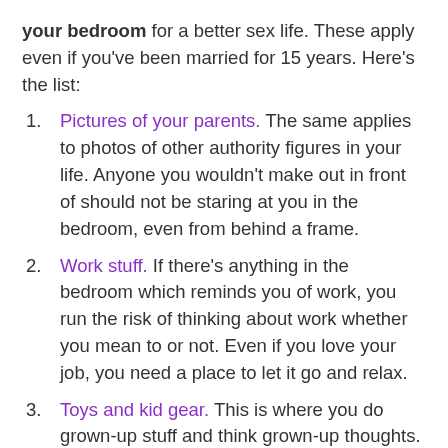your bedroom for a better sex life. These apply even if you've been married for 15 years. Here's the list:
Pictures of your parents. The same applies to photos of other authority figures in your life. Anyone you wouldn't make out in front of should not be staring at you in the bedroom, even from behind a frame.
Work stuff. If there's anything in the bedroom which reminds you of work, you run the risk of thinking about work whether you mean to or not. Even if you love your job, you need a place to let it go and relax.
Toys and kid gear. This is where you do grown-up stuff and think grown-up thoughts. No Legos allowed!